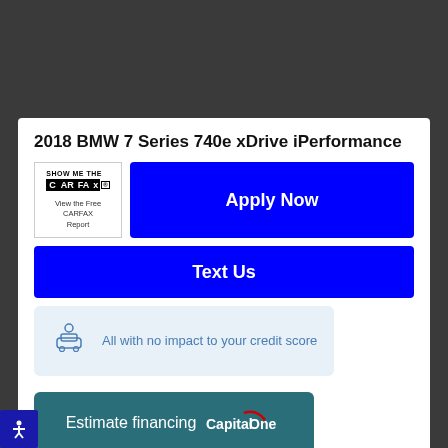2018 BMW 7 Series 740e xDrive iPerformance
[Figure (logo): SHOW ME THE CARFAX logo with text 'View the Free CARFAX Report']
Apply Now
Text Us
[Figure (illustration): Car with person icon indicating financing/credit check]
All with no impact to your credit score
Estimate financing Capital One